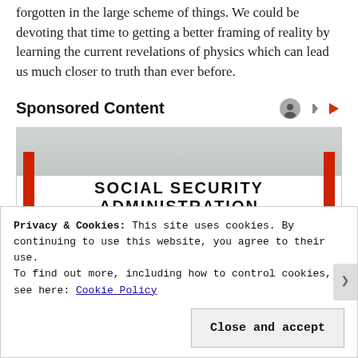forgotten in the large scheme of things. We could be devoting that time to getting a better framing of reality by learning the current revelations of physics which can lead us much closer to truth than ever before.
Sponsored Content
[Figure (photo): Photograph of a Social Security Administration building exterior showing a white banner sign reading 'SOCIAL SECURITY ADMINISTRATION' in bold black letters, with red poles on either side and windows below.]
Privacy & Cookies: This site uses cookies. By continuing to use this website, you agree to their use.
To find out more, including how to control cookies, see here: Cookie Policy
Close and accept